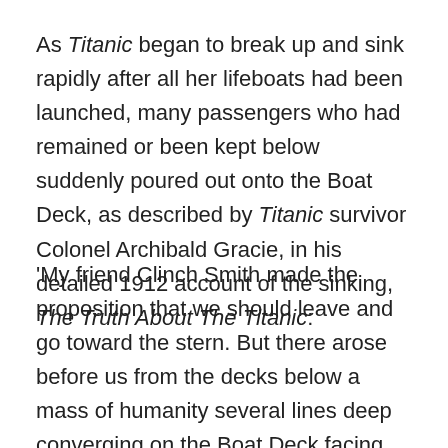As Titanic began to break up and sink rapidly after all her lifeboats had been launched, many passengers who had remained or been kept below suddenly poured out onto the Boat Deck, as described by Titanic survivor Colonel Archibald Gracie, in his detailed 1912 account of the sinking, The Truth About The Titanic:
'My friend Clinch Smith made the proposition that we should leave and go toward the stern. But there arose before us from the decks below a mass of humanity several lines deep converging on the Boat Deck facing us and completely blocking our passage to the stern. There were women in the crowd as well as men and these seemed to be steerage